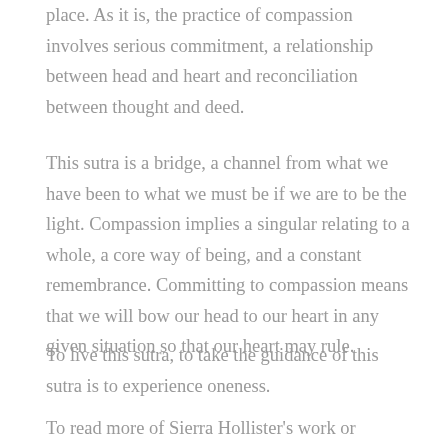place. As it is, the practice of compassion involves serious commitment, a relationship between head and heart and reconciliation between thought and deed.
This sutra is a bridge, a channel from what we have been to what we must be if we are to be the light. Compassion implies a singular relating to a whole, a core way of being, and a constant remembrance. Committing to compassion means that we will bow our head to our heart in any given situation so that our heart may rule.
To live this sutra, to take the guidance of this sutra is to experience oneness.
To read more of Sierra Hollister's work or